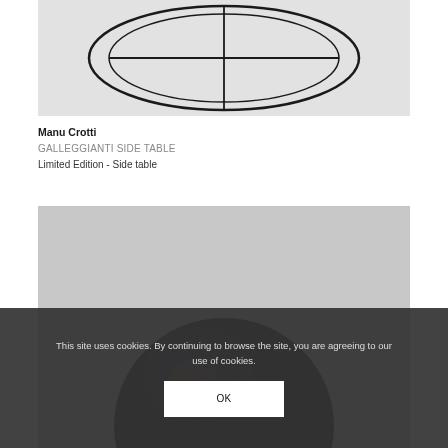[Figure (photo): Top-down view of a wire frame circular side table with black metal frame, showing circular top with cross supports, on light grey background]
Manu Crotti
GALLEGGIANTI SIDE TABLE
Limited Edition - Side table
[Figure (photo): Dark circular stone or ceramic table top surface with hammered/textured finish in dark navy/blue-black color, photographed from above on grey background]
This site uses cookies. By continuing to browse the site, you are agreeing to our use of cookies.